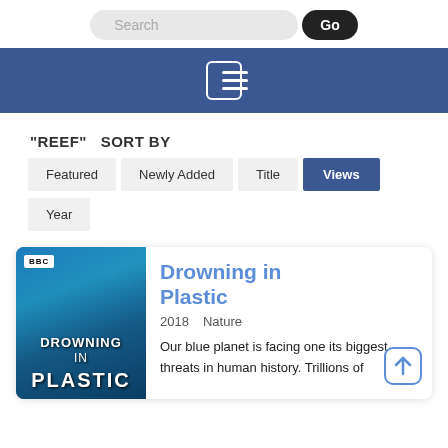[Figure (screenshot): Search bar with text field labeled 'Search' and a dark 'Go' button]
[Figure (screenshot): Blue navigation bar with hamburger menu icon (three horizontal lines in white border box)]
"REEF"  SORT BY
Featured  Newly Added  Title  Views  Year
[Figure (photo): BBC documentary card for 'Drowning in Plastic' (2018, Nature) showing ocean plastic debris. Card includes BBC logo, movie poster image with 'DROWNING IN PLASTIC' text, and description: 'Our blue planet is facing one its biggest threats in human history. Trillions of']